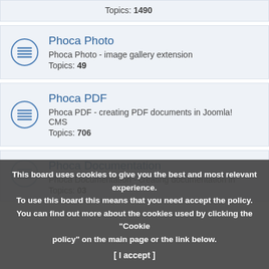Topics: 1490
Phoca Photo
Phoca Photo - image gallery extension
Topics: 49
Phoca PDF
Phoca PDF - creating PDF documents in Joomla! CMS
Topics: 706
Phoca Documentation
Phoca Documentation - creating documentation in
Topics: 03
This board uses cookies to give you the best and most relevant experience. To use this board this means that you need accept the policy. You can find out more about the cookies used by clicking the "Cookie policy" on the main page or the link below. [ I accept ]